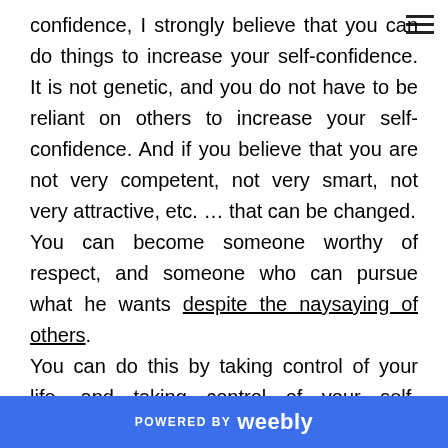[hamburger menu icon]
confidence, I strongly believe that you can do things to increase your self-confidence. It is not genetic, and you do not have to be reliant on others to increase your self-confidence. And if you believe that you are not very competent, not very smart, not very attractive, etc. … that can be changed.
You can become someone worthy of respect, and someone who can pursue what he wants despite the naysaying of others.
You can do this by taking control of your life, and taking control of your self-confidence. By taking concrete actions that improve your competence, your self-image, you can increase that self-confidence,
POWERED BY weebly